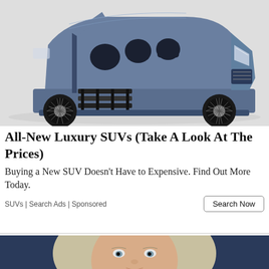[Figure (photo): A large luxury SUV (Lincoln Navigator concept) with all doors open showing interior seating and steps, shot on white background from a side-front angle. Vehicle is dark blue/slate metallic with distinctive turbine-style wheels.]
All-New Luxury SUVs (Take A Look At The Prices)
Buying a New SUV Doesn't Have to Expensive. Find Out More Today.
SUVs | Search Ads | Sponsored
[Figure (photo): Close-up portrait of a blonde woman with straight hair, pale skin and light eyes, looking directly at the camera. Dark navy/blue background.]